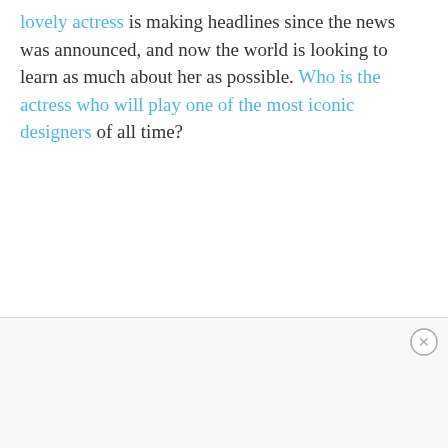lovely actress is making headlines since the news was announced, and now the world is looking to learn as much about her as possible. Who is the actress who will play one of the most iconic designers of all time?